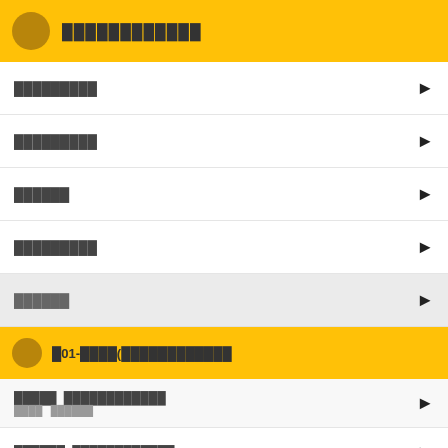████████████
█████████
█████████
██████
█████████
██████
█01-████(████████████
█████ ████████████
██████ ████████████
██████ ████████████